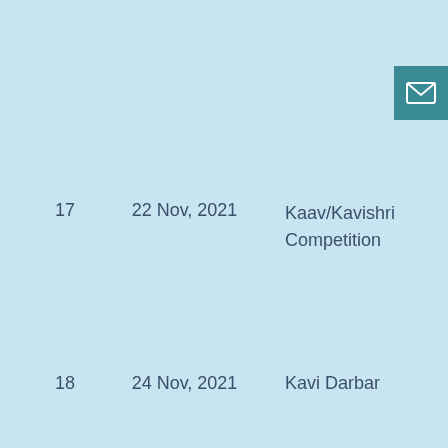[Figure (other): Teal/dark cyan envelope icon button in top-right corner]
| 17 | 22 Nov, 2021 | Kaav/Kavishri Competition |
| 18 | 24 Nov, 2021 | Kavi Darbar |